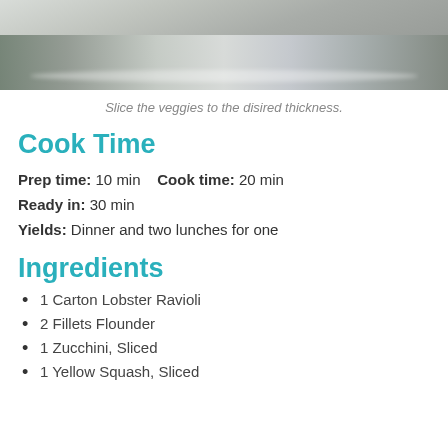[Figure (photo): Photo of a decorated plate/dish, cropped at top showing decorative floral pattern on white ceramic]
Slice the veggies to the disired thickness.
Cook Time
Prep time: 10 min   Cook time: 20 min
Ready in: 30 min
Yields: Dinner and two lunches for one
Ingredients
1 Carton Lobster Ravioli
2 Fillets Flounder
1 Zucchini, Sliced
1 Yellow Squash, Sliced